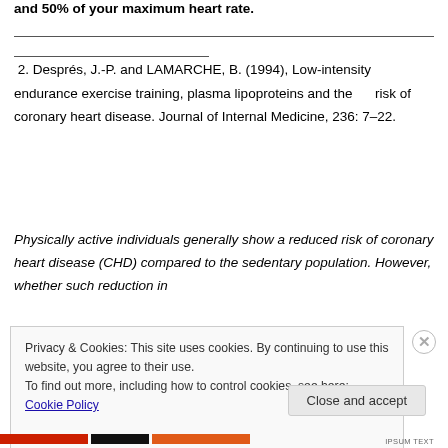and 50% of your maximum heart rate.
2. Després, J.-P. and LAMARCHE, B. (1994), Low-intensity endurance exercise training, plasma lipoproteins and the risk of coronary heart disease. Journal of Internal Medicine, 236: 7–22.
Physically active individuals generally show a reduced risk of coronary heart disease (CHD) compared to the sedentary population. However, whether such reduction in
Privacy & Cookies: This site uses cookies. By continuing to use this website, you agree to their use.
To find out more, including how to control cookies, see here: Cookie Policy
Close and accept